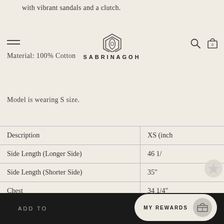with vibrant sandals and a clutch.
Material:  100% Cotton
Model is wearing S size.
| Description | XS (inch |
| --- | --- |
| Side Length (Longer Side) | 46 1/ |
| Side Length (Shorter Side) | 35" |
| Chest | 34 1/4" |
| Waist Width | 26 1/4" |
| Sleeve Length | 13 5/8" |
ADD TO   MY REWARDS